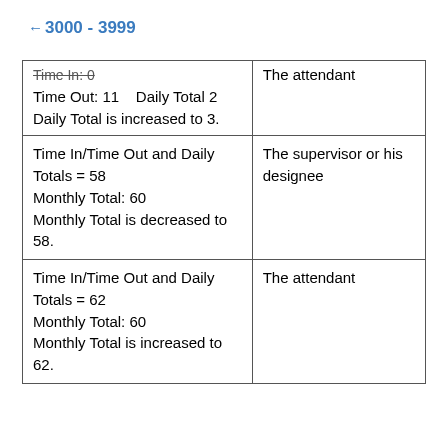← 3000 - 3999
| Time In: 0
Time Out: 11    Daily Total 2
Daily Total is increased to 3. | The attendant |
| Time In/Time Out and Daily Totals = 58
Monthly Total: 60
Monthly Total is decreased to 58. | The supervisor or his designee |
| Time In/Time Out and Daily Totals = 62
Monthly Total: 60
Monthly Total is increased to 62. | The attendant |